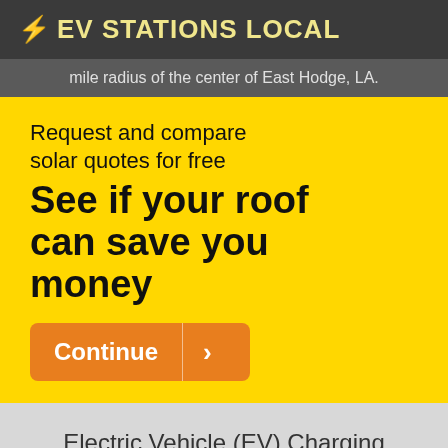⚡ EV STATIONS LOCAL
mile radius of the center of East Hodge, LA.
[Figure (infographic): Yellow advertisement banner: 'Request and compare solar quotes for free — See if your roof can save you money' with a Continue button]
Electric Vehicle (EV) Charging Stations in East Hodge, LA